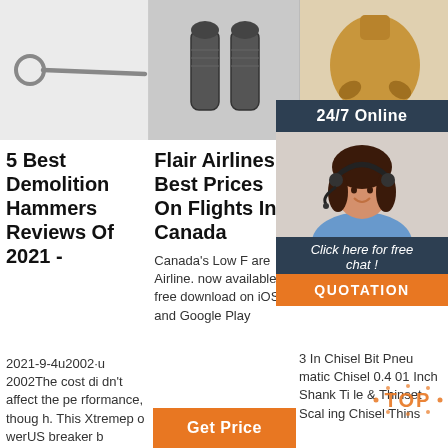[Figure (photo): Long thin metal chisel/punch tool with loop handle on white background]
[Figure (photo): Dark metal drill bit or connector assembly on grey background]
[Figure (photo): Bronze/gold colored PDC drill bit on white/blue background]
24/7 Online
[Figure (photo): Customer service agent woman with headset smiling]
Click here for free chat !
QUOTATION
5 Best Demolition Hammers Reviews Of 2021 -
2021-9-4u2002·u2002The cost didn't affect the performance, though. This Xtremepo werUS breaker b
Flair Airlines - Best Prices On Flights In Canada
Canada's Low Fare Airline. now available for free download on iOS and Google Play
Get Price
3 In Air Pn Ch Inc
3 In Chisel Bit Pneumatic Chisel 0.401 Inch Shank Tile & Thinset Scaling Chisel Thins